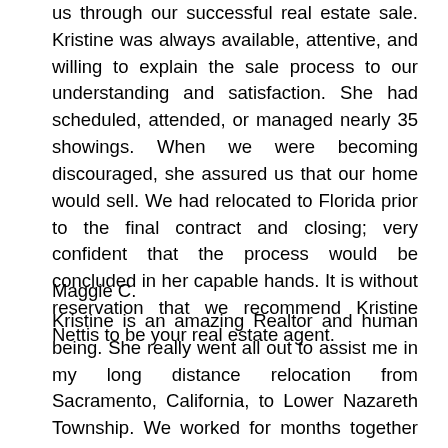us through our successful real estate sale. Kristine was always available, attentive, and willing to explain the sale process to our understanding and satisfaction. She had scheduled, attended, or managed nearly 35 showings. When we were becoming discouraged, she assured us that our home would sell. We had relocated to Florida prior to the final contract and closing; very confident that the process would be concluded in her capable hands. It is without reservation that we recommend Kristine Nettis to be your real estate agent.
Maggie C.
Kristine is an amazing Realtor and human being. She really went all out to assist me in my long distance relocation from Sacramento, California, to Lower Nazareth Township. We worked for months together over the phone, then spent days together viewing homes. She was a real trooper when 4 more of my family members all piled into her car and viewed homes. Kristine is